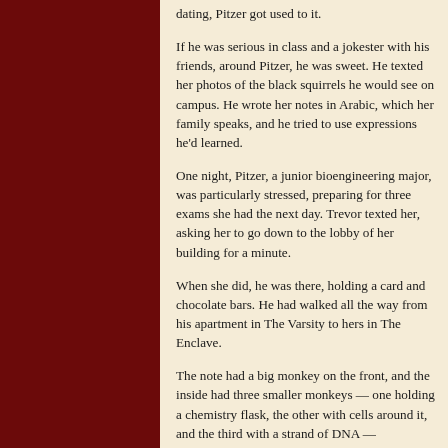dating, Pitzer got used to it.
If he was serious in class and a jokester with his friends, around Pitzer, he was sweet. He texted her photos of the black squirrels he would see on campus. He wrote her notes in Arabic, which her family speaks, and he tried to use expressions he'd learned.
One night, Pitzer, a junior bioengineering major, was particularly stressed, preparing for three exams she had the next day. Trevor texted her, asking her to go down to the lobby of her building for a minute.
When she did, he was there, holding a card and chocolate bars. He had walked all the way from his apartment in The Varsity to hers in The Enclave.
The note had a big monkey on the front, and the inside had three smaller monkeys — one holding a chemistry flask, the other with cells around it, and the third with a strand of DNA —